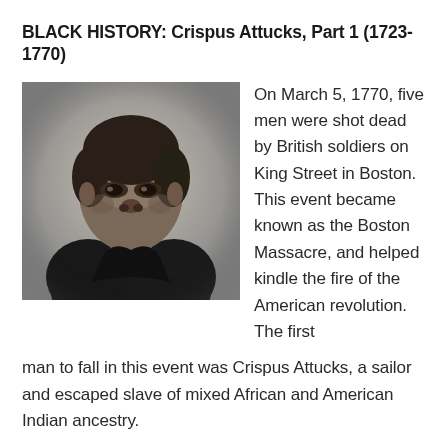BLACK HISTORY: Crispus Attucks, Part 1 (1723-1770)
[Figure (photo): Black and white portrait illustration of Crispus Attucks, a Black man wearing a white cravat and dark jacket, shown from the chest up, facing slightly to the left.]
On March 5, 1770, five men were shot dead by British soldiers on King Street in Boston. This event became known as the Boston Massacre, and helped kindle the fire of the American revolution. The first man to fall in this event was Crispus Attucks, a sailor and escaped slave of mixed African and American Indian ancestry.